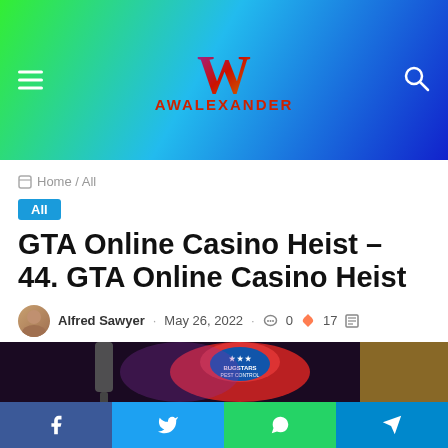AWALEXANDER
Home / All
All
GTA Online Casino Heist – 44. GTA Online Casino Heist
Alfred Sawyer · May 26, 2022 · 0 comments · 17 · 3 minutes read
[Figure (photo): GTA Online Casino Heist screenshot showing a Bugstars pest control van/hat prop in a dimly lit purple/dark scene]
Facebook · Twitter · WhatsApp · Telegram social share buttons